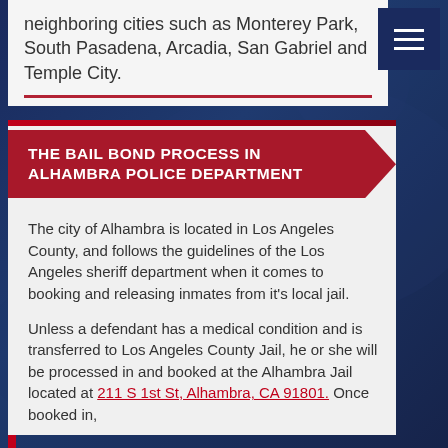neighboring cities such as Monterey Park, South Pasadena, Arcadia, San Gabriel and Temple City.
[Figure (other): Hamburger menu button icon (three horizontal white lines on dark navy background)]
THE BAIL BOND PROCESS IN ALHAMBRA POLICE DEPARTMENT
The city of Alhambra is located in Los Angeles County, and follows the guidelines of the Los Angeles sheriff department when it comes to booking and releasing inmates from it's local jail.
Unless a defendant has a medical condition and is transferred to Los Angeles County Jail, he or she will be processed in and booked at the Alhambra Jail located at 211 S 1st St, Alhambra, CA 91801. Once booked in,